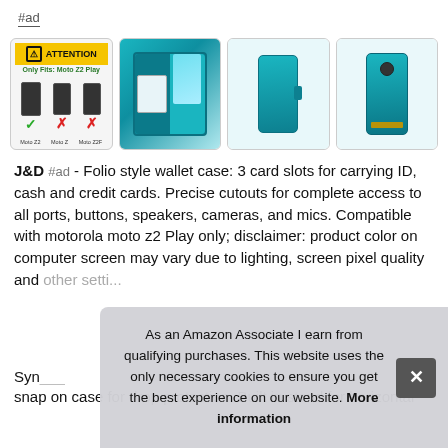#ad
[Figure (photo): Four product images of a teal folio wallet case for Motorola Moto Z2 Play. First image shows an attention card with compatibility info (Only fits Moto Z2 Play), with checkmark and X marks on phone silhouettes. Second image shows the case open with a phone and card slot visible. Third image shows the case closed from the front. Fourth image shows the back of the phone with the case on.]
J&D #ad - Folio style wallet case: 3 card slots for carrying ID, cash and credit cards. Precise cutouts for complete access to all ports, buttons, speakers, cameras, and mics. Compatible with motorola moto z2 Play only; disclaimer: product color on computer screen may vary due to lighting, screen pixel quality and other settings.
Syn...
snap on case for drop protection. Built in stand for horizontal
As an Amazon Associate I earn from qualifying purchases. This website uses the only necessary cookies to ensure you get the best experience on our website. More information